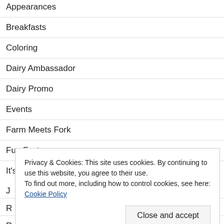Appearances
Breakfasts
Coloring
Dairy Ambassador
Dairy Promo
Events
Farm Meets Fork
Fun Facts
It's Life, It's Love
J...
R...
R...
Recipes
Privacy & Cookies: This site uses cookies. By continuing to use this website, you agree to their use.
To find out more, including how to control cookies, see here: Cookie Policy
Close and accept